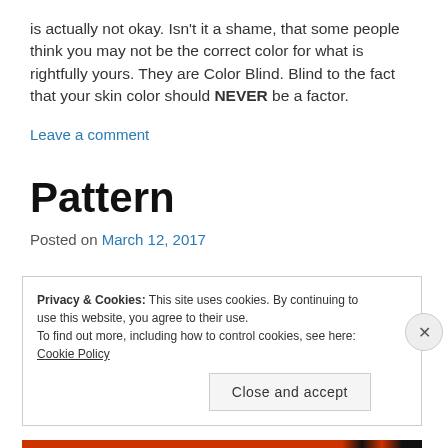is actually not okay. Isn't it a shame, that some people think you may not be the correct color for what is rightfully yours. They are Color Blind. Blind to the fact that your skin color should NEVER be a factor.
Leave a comment
Pattern
Posted on March 12, 2017
Privacy & Cookies: This site uses cookies. By continuing to use this website, you agree to their use.
To find out more, including how to control cookies, see here: Cookie Policy
Close and accept